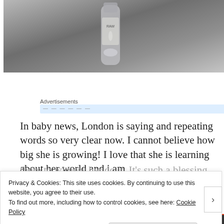[Figure (photo): A bottle or spray container photographed against a grey/silver background, partially visible at top of page]
Advertisements
In baby news, London is saying and repeating words so very clear now. I cannot believe how big she is growing! I love that she is learning about her world and i am there to witness her do it. It's such a blessing will to
Privacy & Cookies: This site uses cookies. By continuing to use this website, you agree to their use.
To find out more, including how to control cookies, see here: Cookie Policy
Close and accept